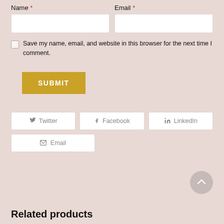Name *
Email *
Save my name, email, and website in this browser for the next time I comment.
SUBMIT
Twitter
Facebook
LinkedIn
Email
Related products